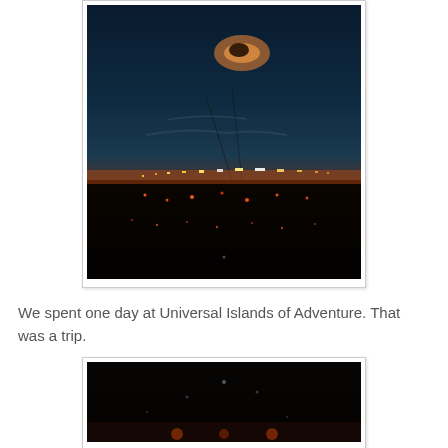[Figure (photo): Night sky photograph showing a dark cityscape with scattered lights on the horizon and colorful dusk/twilight sky above. A glowing cloud formation is visible in the upper portion of the image.]
We spent one day at Universal Islands of Adventure. That was a trip.
[Figure (photo): Dark nighttime photograph, partially visible at the bottom of the page, showing a dark scene with faint colored lights.]